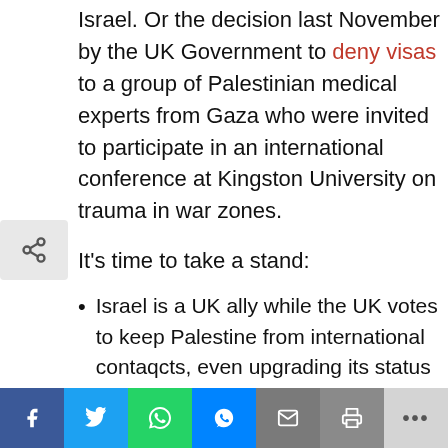Israel. Or the decision last November by the UK Government to deny visas to a group of Palestinian medical experts from Gaza who were invited to participate in an international conference at Kingston University on trauma in war zones.
It's time to take a stand:
Israel is a UK ally while the UK votes to keep Palestine from international contacts, even upgrading its status at the UN
Britain (and Scotland, including Glasgow and Edinburgh) send drones and other weapons to murder Palestinians trapped in the worlds largest open prison, Gaza, but don't allow Gaza surgeons to visit and meet with colleagues to